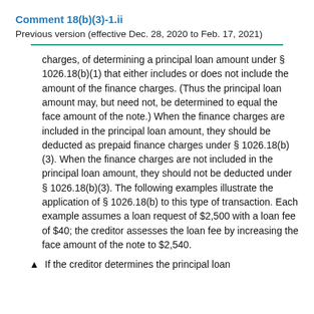Comment 18(b)(3)-1.ii
Previous version (effective Dec. 28, 2020 to Feb. 17, 2021)
charges, of determining a principal loan amount under § 1026.18(b)(1) that either includes or does not include the amount of the finance charges. (Thus the principal loan amount may, but need not, be determined to equal the face amount of the note.) When the finance charges are included in the principal loan amount, they should be deducted as prepaid finance charges under § 1026.18(b)(3). When the finance charges are not included in the principal loan amount, they should not be deducted under § 1026.18(b)(3). The following examples illustrate the application of § 1026.18(b) to this type of transaction. Each example assumes a loan request of $2,500 with a loan fee of $40; the creditor assesses the loan fee by increasing the face amount of the note to $2,540.
If the creditor determines the principal loan…